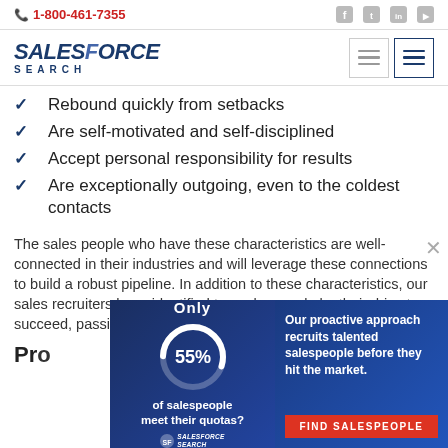1-800-461-7355
[Figure (logo): SalesForce Search logo]
Rebound quickly from setbacks
Are self-motivated and self-disciplined
Accept personal responsibility for results
Are exceptionally outgoing, even to the coldest contacts
The sales people who have these characteristics are well-connected in their industries and will leverage these connections to build a robust pipeline. In addition to these characteristics, our sales recruiters have identified top salespeople by their drive to succeed, passion for excellence
Pro
[Figure (infographic): Overlay popup: Only 55% of salespeople meet their quotas? Our proactive approach recruits talented salespeople before they hit the market. FIND SALESPEOPLE button. SalesForce Search logo.]